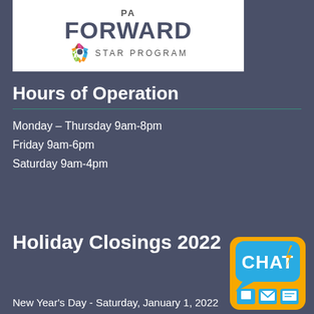[Figure (logo): PA Forward Star Program logo with colorful star icon and text on white background]
Hours of Operation
Monday – Thursday 9am-8pm
Friday 9am-6pm
Saturday 9am-4pm
Holiday Closings 2022
[Figure (logo): CHAT logo badge in yellow/orange with chat bubble and icons]
New Year's Day - Saturday, January 1, 2022